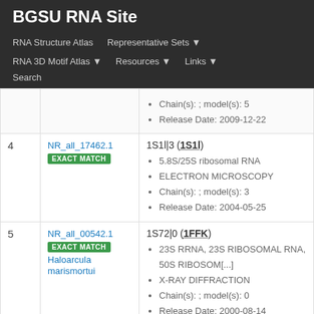BGSU RNA Site
RNA Structure Atlas | Representative Sets | RNA 3D Motif Atlas | Resources | Links | Search
| # | ID | Info |
| --- | --- | --- |
|  |  | Chain(s): ; model(s): 5
Release Date: 2009-12-22 |
| 4 | NR_all_17462.1
EXACT MATCH | 1S1l|3 (1S1l)
5.8S/25S ribosomal RNA
ELECTRON MICROSCOPY
Chain(s): ; model(s): 3
Release Date: 2004-05-25 |
| 5 | NR_all_00542.1
EXACT MATCH
Haloarcula marismortui | 1S72|0 (1FFK)
23S RRNA, 23S RIBOSOMAL RNA, 50S RIBOSOM[...]
X-RAY DIFFRACTION
Chain(s): ; model(s): 0
Release Date: 2000-08-14 |